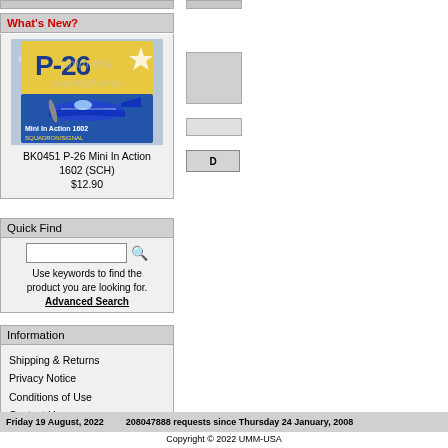What's New?
[Figure (illustration): Book cover for BK0451 P-26 Mini In Action 1602 (SCH) with watermark overlay showing a blue P-26 aircraft]
BK0451 P-26 Mini In Action 1602 (SCH)
$12.90
Quick Find
Use keywords to find the product you are looking for.
Advanced Search
Information
Shipping & Returns
Privacy Notice
Conditions of Use
Contact Us
Friday 19 August, 2022        208047888 requests since Thursday 24 January, 2008
Copyright © 2022 UMM-USA